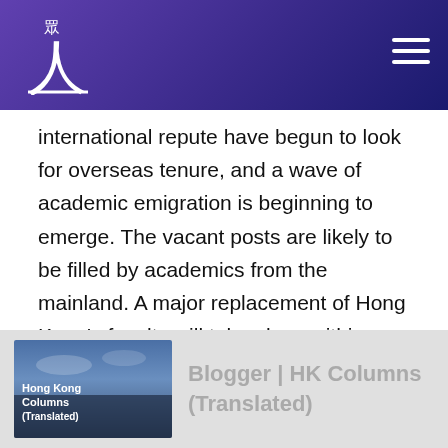人眾 [logo with navigation menu]
international repute have begun to look for overseas tenure, and a wave of academic emigration is beginning to emerge. The vacant posts are likely to be filled by academics from the mainland. A major replacement of Hong Kong's faculty will take place within a few years, and will result in a self-consciously politically silenced and depoliticised academic sector.
[Figure (other): Thumbnail image for 'Hong Kong Columns (Translated)' blog post card with text overlay on a dark scenic background]
Blogger | HK Columns (Translated)